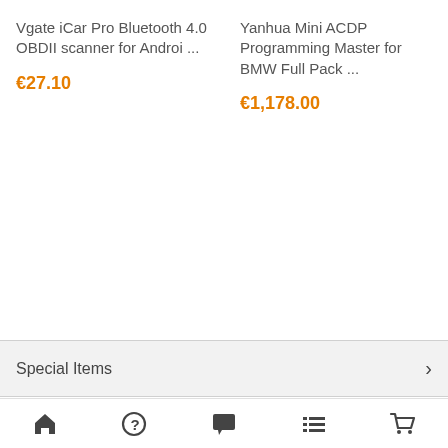Vgate iCar Pro Bluetooth 4.0 OBDII scanner for Androi ...
€27.10
Yanhua Mini ACDP Programming Master for BMW Full Pack ...
€1,178.00
Special Items
Home | Help | Chat | List | Cart